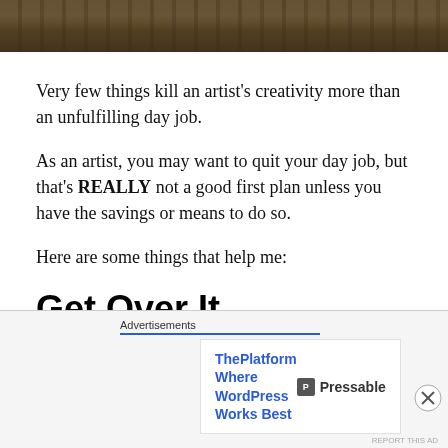[Figure (photo): Partial image of books and objects on a table, cropped at top of page]
Very few things kill an artist's creativity more than an unfulfilling day job.
As an artist, you may want to quit your day job, but that's REALLY not a good first plan unless you have the savings or means to do so.
Here are some things that help me:
Get Over It
Boy. Ashley is MEAN this afternoon, isn't she?
Advertisements
ThePlatform Where WordPress Works Best    P Pressable